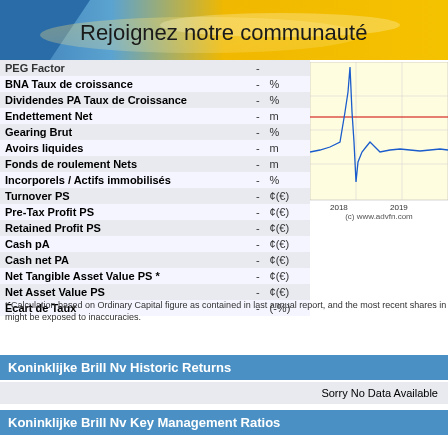[Figure (illustration): Orange/blue gradient banner with text 'Rejoignez notre communauté']
|  |  |  |
| --- | --- | --- |
| PEG Factor | - |  |
| BNA Taux de croissance | - | % |
| Dividendes PA Taux de Croissance | - | % |
| Endettement Net | - | m |
| Gearing Brut | - | % |
| Avoirs liquides | - | m |
| Fonds de roulement Nets | - | m |
| Incorporels / Actifs immobilisés | - | % |
| Turnover PS | - | ¢(€) |
| Pre-Tax Profit PS | - | ¢(€) |
| Retained Profit PS | - | ¢(€) |
| Cash pA | - | ¢(€) |
| Cash net PA | - | ¢(€) |
| Net Tangible Asset Value PS * | - | ¢(€) |
| Net Asset Value PS | - | ¢(€) |
| Écart de Taux | - | (-%) |
[Figure (line-chart): Stock price chart showing years 2018-2019 with blue line and red horizontal reference line]
* Calculation based on Ordinary Capital figure as contained in last annual report, and the most recent shares in issue figure. Therefore the ratio might be exposed to inaccuracies.
Koninklijke Brill Nv Historic Returns
Sorry No Data Available
Koninklijke Brill Nv Key Management Ratios